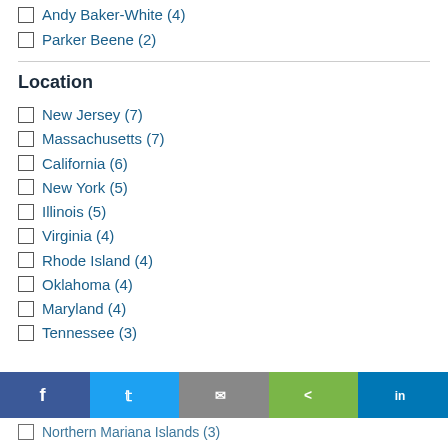Andy Baker-White (4)
Parker Beene (2)
Location
New Jersey (7)
Massachusetts (7)
California (6)
New York (5)
Illinois (5)
Virginia (4)
Rhode Island (4)
Oklahoma (4)
Maryland (4)
Tennessee (3)
Northern Mariana Islands (3)